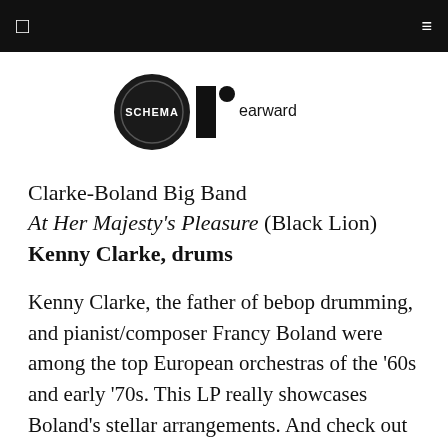Schema Earward
[Figure (logo): Schema Earward logo: circular black badge with SCHEMA text and a vertical black rectangle with a small dot labeled earward]
Clarke-Boland Big Band
At Her Majesty's Pleasure (Black Lion)
Kenny Clarke, drums
Kenny Clarke, the father of bebop drumming, and pianist/composer Francy Boland were among the top European orchestras of the ’60s and early ’70s. This LP really showcases Boland’s stellar arrangements. And check out